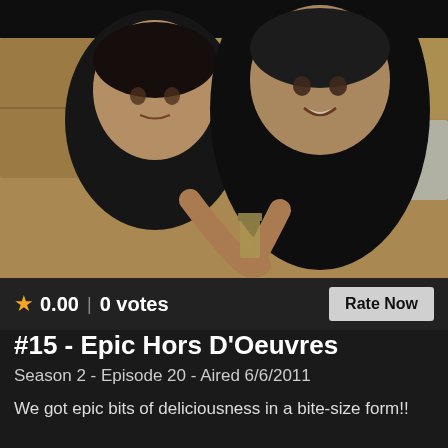[Figure (photo): Two young men in black shirts toasting with small glasses in a kitchen setting]
★ 0.00 | 0 votes  Rate Now
#15 - Epic Hors D'Oeuvres
Season 2 - Episode 20 - Aired 6/6/2011
We got epic bits of deliciousness in a bite-size form!!